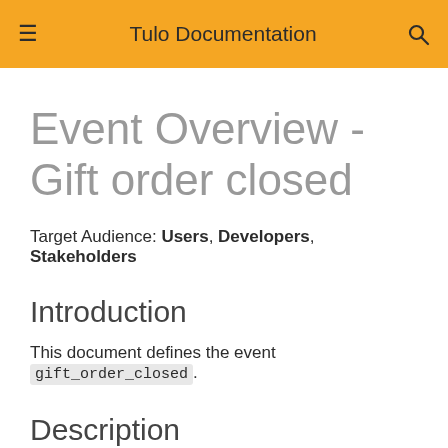≡  Tulo Documentation  🔍
Event Overview - Gift order closed
Target Audience: Users, Developers, Stakeholders
Introduction
This document defines the event gift_order_closed.
Description